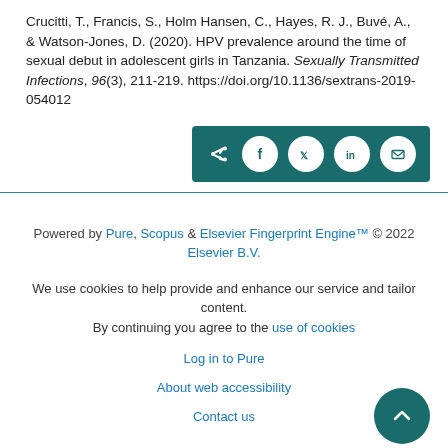Crucitti, T., Francis, S., Holm Hansen, C., Hayes, R. J., Buvé, A., & Watson-Jones, D. (2020). HPV prevalence around the time of sexual debut in adolescent girls in Tanzania. Sexually Transmitted Infections, 96(3), 211-219. https://doi.org/10.1136/sextrans-2019-054012
[Figure (other): Social share bar with icons for share, Facebook, Twitter, LinkedIn, and email on a teal background]
Powered by Pure, Scopus & Elsevier Fingerprint Engine™ © 2022 Elsevier B.V.
We use cookies to help provide and enhance our service and tailor content. By continuing you agree to the use of cookies
Log in to Pure
About web accessibility
Contact us